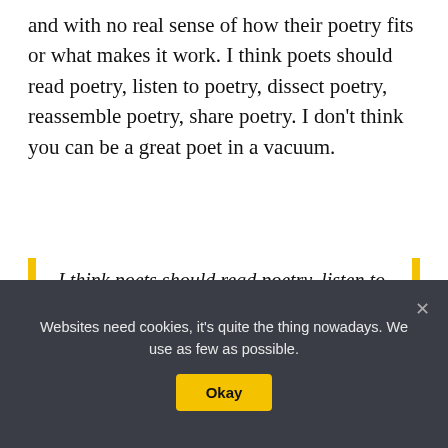and with no real sense of how their poetry fits or what makes it work. I think poets should read poetry, listen to poetry, dissect poetry, reassemble poetry, share poetry. I don't think you can be a great poet in a vacuum.
I think poets should read poetry, listen to poetry, dissect poetry, reassemble poetry, share poetry. I don't think you can be a great poet in a vacuum
Websites need cookies, it's quite the thing nowadays. We use as few as possible.